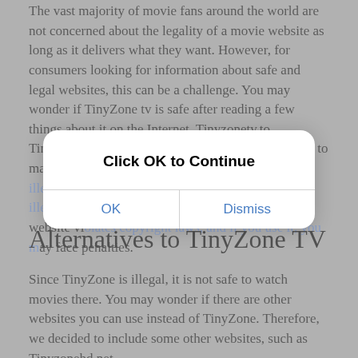The vast majority of movie fans around the world are not concerned about the legality of a movie website as long as it delivers what they want. However, for consumers looking for information about safe and legal websites, this can be a challenge. You may wonder if TinyZone tv is safe after reading a few things about it on the Internet. Tinyzonetv.to, TinyZonetv.cc, TinyZonehd.net and TinyZonetv.fun, to make a long story short, are not legal. They are both illegal and dangerous. TinyZone is a website that illegally streams movies without showing. This website violates copyright laws, and if you use it, you may face penalties.
[Figure (screenshot): iOS-style dialog box with title 'Click OK to Continue' and two buttons: OK and Dismiss]
Alternatives to TinyZone TV
Since TinyZone is illegal, it is not safe to watch movies there. You may wonder if there are other websites you can use instead of TinyZone. Therefore, we decided to include some other websites, such as Tinyzonehd.net.